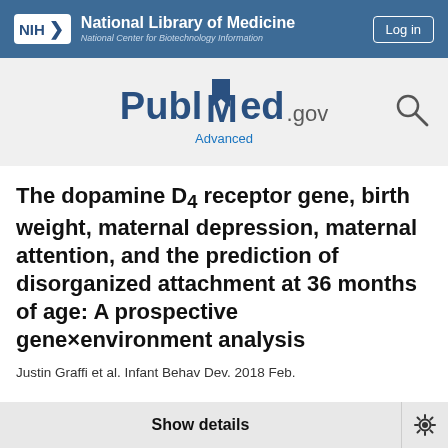NIH National Library of Medicine National Center for Biotechnology Information | Log in
[Figure (logo): PubMed.gov logo with search icon and Advanced link]
The dopamine D4 receptor gene, birth weight, maternal depression, maternal attention, and the prediction of disorganized attachment at 36 months of age: A prospective gene×environment analysis
Justin Graffi et al. Infant Behav Dev. 2018 Feb.
Show details